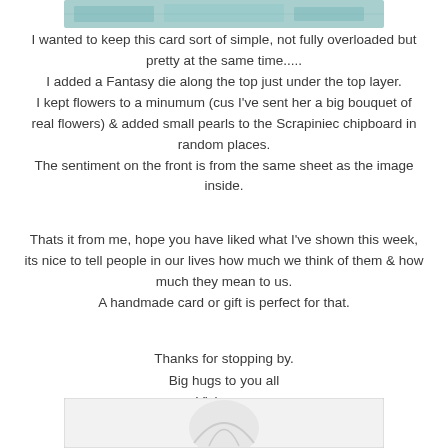[Figure (photo): Partial image at top of page, appears to be a card or craft project with teal/blue tones]
I wanted to keep this card sort of simple, not fully overloaded but pretty at the same time.....
I added a Fantasy die along the top just under the top layer.
I kept flowers to a minumum (cus I've sent her a big bouquet of real flowers) & added small pearls to the Scrapiniec chipboard in random places.
The sentiment on the front is from the same sheet as the image inside.
Thats it from me, hope you have liked what I've shown this week, its nice to tell people in our lives how much we think of them & how much they mean to us. A handmade card or gift is perfect for that.
Thanks for stopping by.
Big hugs to you all
Vicky xxx
[Figure (photo): Partial image at bottom of page, appears to be a card or craft project]